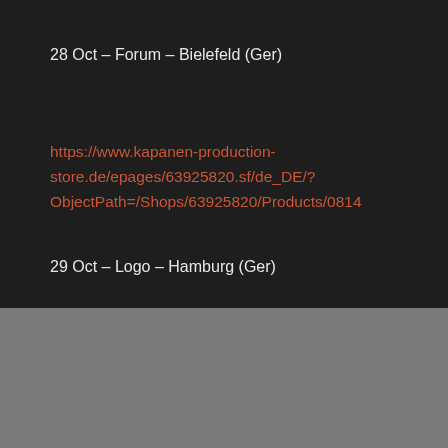28 Oct – Forum – Bielefeld (Ger)
https://www.kapanen-production-store.de/epages/63925820.sf/de_DE/?ObjectPath=/Shops/63925820/Products/0814
29 Oct – Logo – Hamburg (Ger)
This site uses cookies from Google to deliver its services and to analyze traffic. Your IP address and user-agent are shared with Google along with performance and security metrics to ensure quality of service, generate usage statistics, and to detect and address abuse.
LEARN MORE   OK